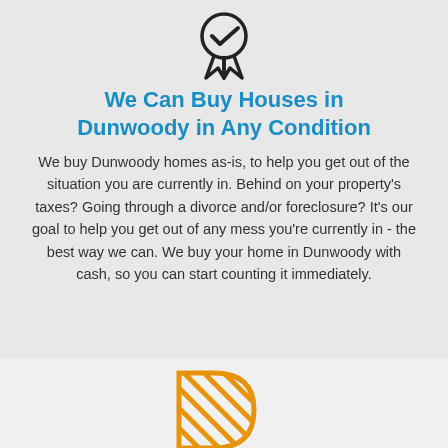[Figure (illustration): A circular badge/medal icon with a checkmark inside, and a ribbon hanging below it, rendered in black outline style.]
We Can Buy Houses in Dunwoody in Any Condition
We buy Dunwoody homes as-is, to help you get out of the situation you are currently in. Behind on your property's taxes? Going through a divorce and/or foreclosure? It's our goal to help you get out of any mess you're currently in - the best way we can. We buy your home in Dunwoody with cash, so you can start counting it immediately.
[Figure (illustration): An orange letter D shape with diagonal hatching/stripes inside, partially visible at the bottom of the page.]